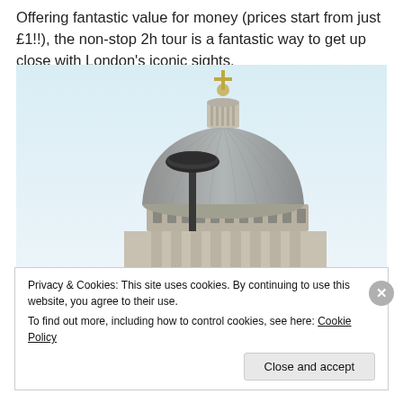Offering fantastic value for money (prices start from just £1!!), the non-stop 2h tour is a fantastic way to get up close with London's iconic sights.
[Figure (photo): Photo of St Paul's Cathedral dome in London against a pale blue sky, with a street lamp in the foreground.]
Privacy & Cookies: This site uses cookies. By continuing to use this website, you agree to their use.
To find out more, including how to control cookies, see here: Cookie Policy